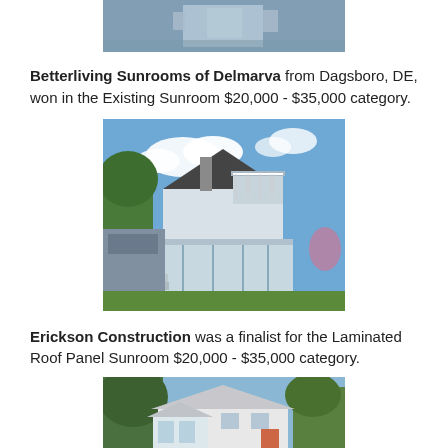[Figure (photo): Aerial or exterior view of a building/sunroom, partially cropped at top of page]
Betterliving Sunrooms of Delmarva from Dagsboro, DE, won in the Existing Sunroom $20,000 - $35,000 category.
[Figure (photo): Exterior photo of a white two-story house with an enclosed sunroom/porch addition and deck, surrounded by green lawn and trees under blue sky]
Erickson Construction was a finalist for the Laminated Roof Panel Sunroom $20,000 - $35,000 category.
[Figure (photo): Exterior photo of a white single-story house with an attached sunroom addition, trees in background]